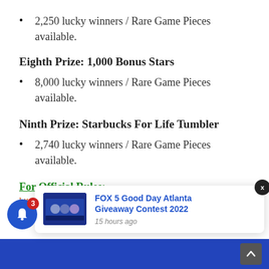2,250 lucky winners / Rare Game Pieces available.
Eighth Prize: 1,000 Bonus Stars
8,000 lucky winners / Rare Game Pieces available.
Ninth Prize: Starbucks For Life Tumbler
2,740 lucky winners / Rare Game Pieces available.
For Official Rules:
https://starbucks-promo.onprize.com/holiday2021/public/fulfillm...
[Figure (screenshot): FOX 5 Good Day Atlanta Giveaway Contest 2022 notification popup with thumbnail image, close button, and timestamp '15 hours ago'. Blue notification bell with badge '3' on left. Blue footer bar with scroll-to-top button.]